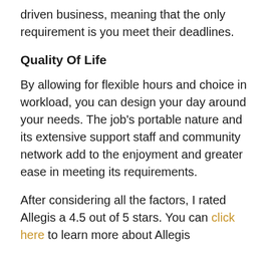driven business, meaning that the only requirement is you meet their deadlines.
Quality Of Life
By allowing for flexible hours and choice in workload, you can design your day around your needs. The job's portable nature and its extensive support staff and community network add to the enjoyment and greater ease in meeting its requirements.
After considering all the factors, I rated Allegis a 4.5 out of 5 stars. You can click here to learn more about Allegis